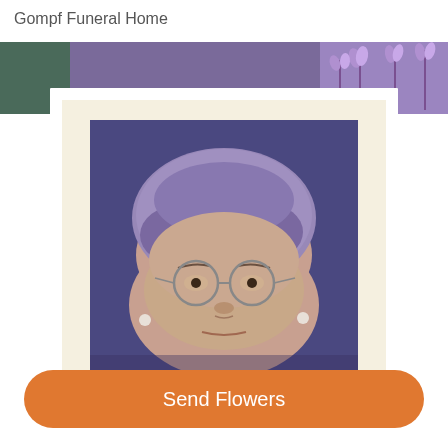Gompf Funeral Home
[Figure (photo): Framed portrait photograph of an elderly woman with short curly purplish-gray hair, wearing round glasses and small pearl earrings, against a blue background. The photo is displayed in a white frame with a cream mat. Behind the frame is a banner with lavender flowers on a purple background.]
Send Flowers